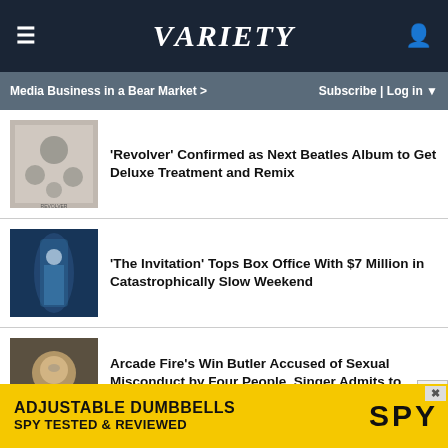Variety
Media Business in a Bear Market >   Subscribe | Log in
'Revolver' Confirmed as Next Beatles Album to Get Deluxe Treatment and Remix
'The Invitation' Tops Box Office With $7 Million in Catastrophically Slow Weekend
Arcade Fire's Win Butler Accused of Sexual Misconduct by Four People, Singer Admits to Encounters But Disputes Accounts
Olivia's Wilde Ride: Directing 'Don't Worry Darling,' Making Harry Styles a Movie Star and…
[Figure (advertisement): ADJUSTABLE DUMBBELLS SPY TESTED & REVIEWED advertisement banner]